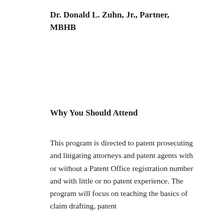Dr. Donald L. Zuhn, Jr., Partner, MBHB
Why You Should Attend
This program is directed to patent prosecuting and litigating attorneys and patent agents with or without a Patent Office registration number and with little or no patent experience. The program will focus on teaching the basics of claim drafting, patent